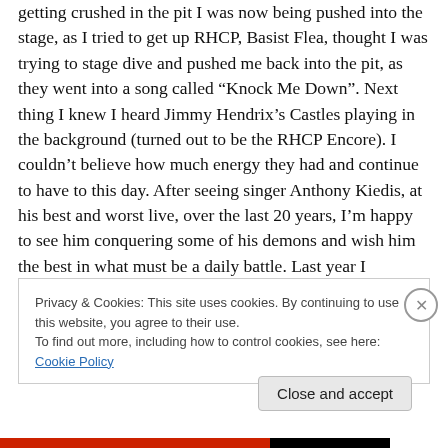getting crushed in the pit I was now being pushed into the stage, as I tried to get up RHCP, Basist Flea, thought I was trying to stage dive and pushed me back into the pit, as they went into a song called “Knock Me Down”. Next thing I knew I heard Jimmy Hendrix’s Castles playing in the background (turned out to be the RHCP Encore). I couldn’t believe how much energy they had and continue to have to this day. After seeing singer Anthony Kiedis, at his best and worst live, over the last 20 years, I’m happy to see him conquering some of his demons and wish him the best in what must be a daily battle. Last year I
Privacy & Cookies: This site uses cookies. By continuing to use this website, you agree to their use.
To find out more, including how to control cookies, see here: Cookie Policy